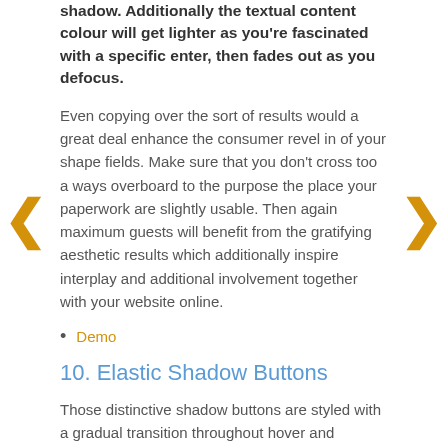shadow. Additionally the textual content colour will get lighter as you're fascinated with a specific enter, then fades out as you defocus.
Even copying over the sort of results would a great deal enhance the consumer revel in of your shape fields. Make sure that you don't cross too a ways overboard to the purpose the place your paperwork are slightly usable. Then again maximum guests will benefit from the gratifying aesthetic results which additionally inspire interplay and additional involvement together with your website online.
Demo
10. Elastic Shadow Buttons
Those distinctive shadow buttons are styled with a gradual transition throughout hover and energetic states. You'll to find equivalent examples at the Mozilla homepage with their massive "Obtain